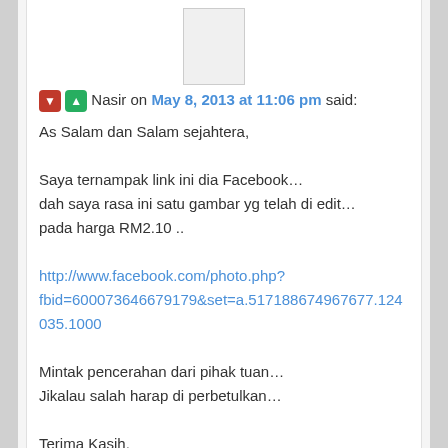[Figure (photo): Avatar/profile image placeholder, white box with border]
Nasir on May 8, 2013 at 11:06 pm said:
As Salam dan Salam sejahtera,

Saya ternampak link ini dia Facebook…
dah saya rasa ini satu gambar yg telah di edit…
pada harga RM2.10 ..

http://www.facebook.com/photo.php?fbid=600073646679179&set=a.517188674967677.124035.1000...

Mintak pencerahan dari pihak tuan…
Jikalau salah harap di perbetulkan…

Terima Kasih,
Nasir
Reply ↓